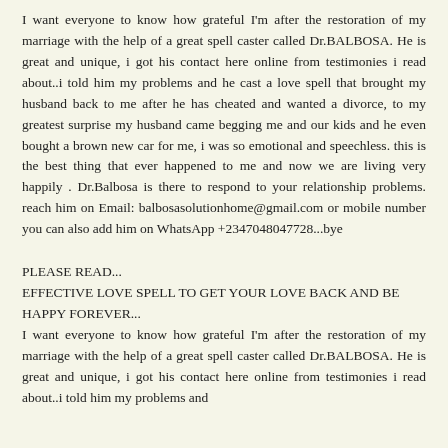I want everyone to know how grateful I'm after the restoration of my marriage with the help of a great spell caster called Dr.BALBOSA. He is great and unique, i got his contact here online from testimonies i read about..i told him my problems and he cast a love spell that brought my husband back to me after he has cheated and wanted a divorce, to my greatest surprise my husband came begging me and our kids and he even bought a brown new car for me, i was so emotional and speechless. this is the best thing that ever happened to me and now we are living very happily . Dr.Balbosa is there to respond to your relationship problems. reach him on Email: balbosasolutionhome@gmail.com or mobile number you can also add him on WhatsApp +2347048047728...bye
PLEASE READ...
EFFECTIVE LOVE SPELL TO GET YOUR LOVE BACK AND BE HAPPY FOREVER...
I want everyone to know how grateful I'm after the restoration of my marriage with the help of a great spell caster called Dr.BALBOSA. He is great and unique, i got his contact here online from testimonies i read about..i told him my problems and